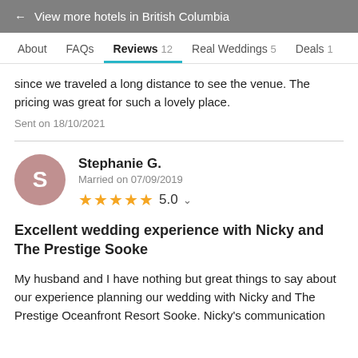← View more hotels in British Columbia
About  FAQs  Reviews 12  Real Weddings 5  Deals 1
since we traveled a long distance to see the venue. The pricing was great for such a lovely place.
Sent on 18/10/2021
Stephanie G.
Married on 07/09/2019
★★★★★ 5.0
Excellent wedding experience with Nicky and The Prestige Sooke
My husband and I have nothing but great things to say about our experience planning our wedding with Nicky and The Prestige Oceanfront Resort Sooke. Nicky's communication